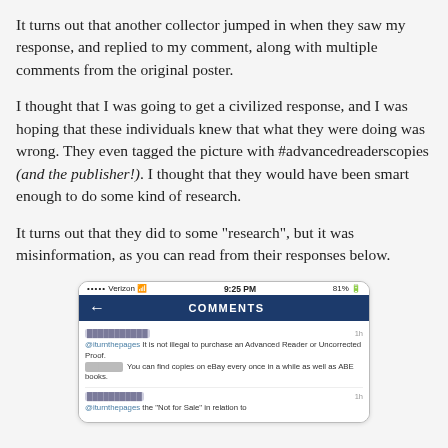It turns out that another collector jumped in when they saw my response, and replied to my comment, along with multiple comments from the original poster.
I thought that I was going to get a civilized response, and I was hoping that these individuals knew that what they were doing was wrong. They even tagged the picture with #advancedreaderscopies (and the publisher!). I thought that they would have been smart enough to do some kind of research.
It turns out that they did to some "research", but it was misinformation, as you can read from their responses below.
[Figure (screenshot): Mobile screenshot of an Instagram comments section showing a Verizon status bar at 9:25 PM with 81% battery, a dark blue COMMENTS navigation bar with back arrow, and two comment entries. First comment from a redacted username: '@iturnthepages It is not illegal to purchase an Advanced Reader or Uncorrected Proof. [redacted] You can find copies on eBay every once in a while as well as ABE books.' Second comment from redacted username beginning with '@iturnthepages the "Not for Sale" in relation to']